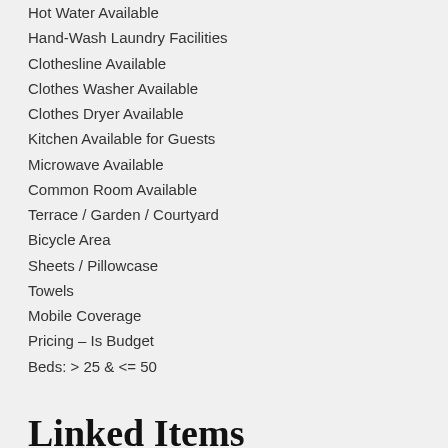Hot Water Available
Hand-Wash Laundry Facilities
Clothesline Available
Clothes Washer Available
Clothes Dryer Available
Kitchen Available for Guests
Microwave Available
Common Room Available
Terrace / Garden / Courtyard
Bicycle Area
Sheets / Pillowcase
Towels
Mobile Coverage
Pricing – Is Budget
Beds: > 25 & <= 50
Linked Items
Communities: